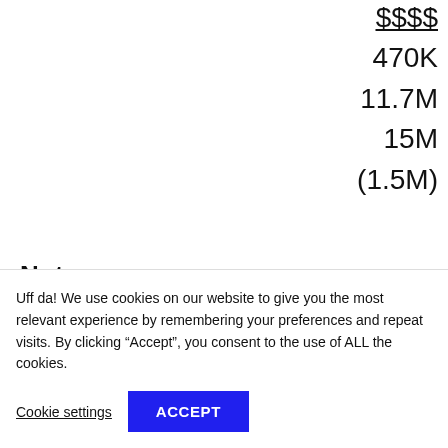$$$$
470K
11.7M
15M
(1.5M)
Notes
.
. .
Uff da! We use cookies on our website to give you the most relevant experience by remembering your preferences and repeat visits. By clicking “Accept”, you consent to the use of ALL the cookies.
Cookie settings
ACCEPT